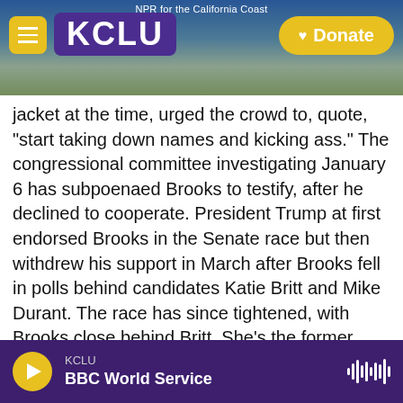NPR for the California Coast — KCLU — Donate
jacket at the time, urged the crowd to, quote, "start taking down names and kicking ass." The congressional committee investigating January 6 has subpoenaed Brooks to testify, after he declined to cooperate. President Trump at first endorsed Brooks in the Senate race but then withdrew his support in March after Brooks fell in polls behind candidates Katie Britt and Mike Durant. The race has since tightened, with Brooks close behind Britt. She's the former chief of staff to longtime Alabama Senator Richard Shelby, who is retiring, opening up this battle for his seat. Durant is a political newcomer. He's a former U.S. Army helicopter pilot
KCLU — BBC World Service